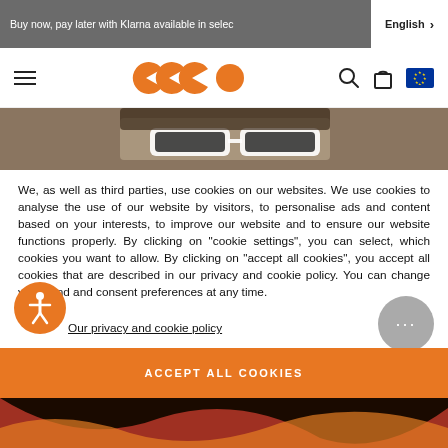Buy now, pay later with Klarna available in selec  English  >
[Figure (logo): Navigation bar with hamburger menu, orange circular logo marks (GCGO style), search icon, bag icon, EU flag]
[Figure (photo): Partial photo of a person wearing white sunglasses]
We, as well as third parties, use cookies on our websites. We use cookies to analyse the use of our website by visitors, to personalise ads and content based on your interests, to improve our website and to ensure our website functions properly. By clicking on "cookie settings", you can select, which cookies you want to allow. By clicking on "accept all cookies", you accept all cookies that are described in our privacy and cookie policy. You can change your mind and consent preferences at any time.
Our privacy and cookie policy
ACCEPT ALL COOKIES
[Figure (photo): Bottom strip showing partial image with red/orange tones]